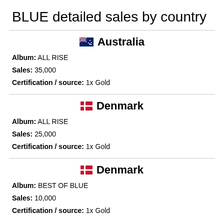BLUE detailed sales by country
🇦🇺 Australia
Album: ALL RISE
Sales: 35,000
Certification / source: 1x Gold
🇩🇰 Denmark
Album: ALL RISE
Sales: 25,000
Certification / source: 1x Gold
🇩🇰 Denmark
Album: BEST OF BLUE
Sales: 10,000
Certification / source: 1x Gold